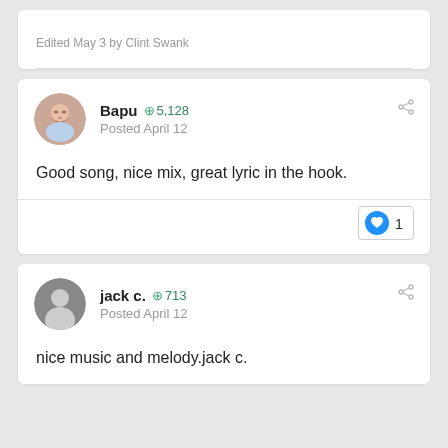Edited May 3 by Clint Swank
Bapu  +5,128
Posted April 12
Good song, nice mix, great lyric in the hook.
1
jack c.  +713
Posted April 12
nice music and melody.jack c.